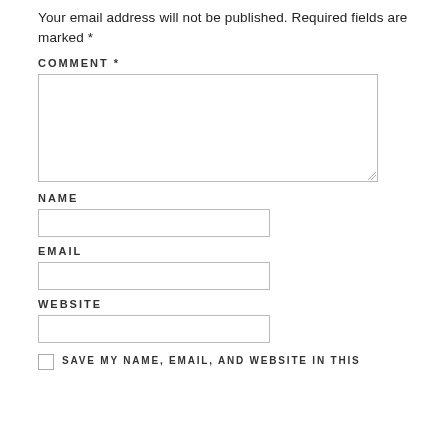Your email address will not be published. Required fields are marked *
COMMENT *
[comment textarea]
NAME
[name text input]
EMAIL
[email text input]
WEBSITE
[website text input]
☐ SAVE MY NAME, EMAIL, AND WEBSITE IN THIS...